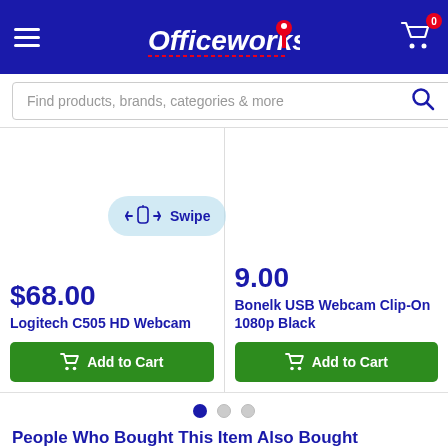[Figure (screenshot): Officeworks website header with hamburger menu, Officeworks logo with red pushpin icon, and shopping cart icon with badge showing 0]
Find products, brands, categories & more
$68.00
Logitech C505 HD Webcam
Add to Cart
9.00
Bonelk USB Webcam Clip-On 1080p Black
Add to Cart
Swipe
People Who Bought This Item Also Bought